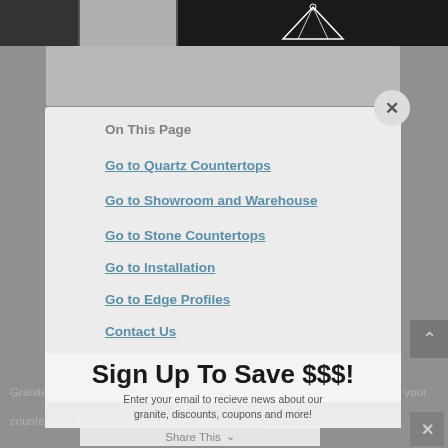[Figure (screenshot): Top image strip showing partial countertop product images in dark tones]
On This Page
Go to Quartz Countertops
Go to Showroom and Warehouse
Go to Stone Countertops
Go to Installation
Go to Edge Profiles
Contact Us
Sign Up To Save $$$!
Enter your email to recieve news about our granite, discounts, coupons and more!
Granite USA is your number one source for the widest selection of granite for your countertops. Since 2008, we have provided the
Share This